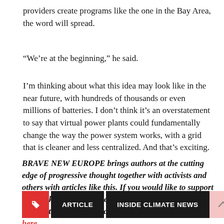providers create programs like the one in the Bay Area, the word will spread.
“We’re at the beginning,” he said.
I’m thinking about what this idea may look like in the near future, with hundreds of thousands or even millions of batteries. I don’t think it’s an overstatement to say that virtual power plants could fundamentally change the way the power system works, with a grid that is cleaner and less centralized. And that’s exciting.
BRAVE NEW EUROPE brings authors at the cutting edge of progressive thought together with activists and others with articles like this. If you would like to support our work and want to see more writing free of state or corporate media bias and free of charge, please donate here.
ARTICLE | INSIDE CLIMATE NEWS